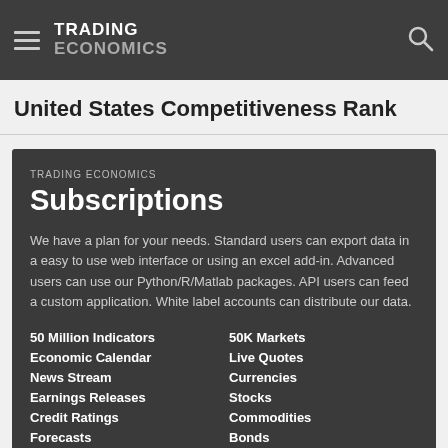TRADING ECONOMICS
United States Competitiveness Rank
TRADING ECONOMICS
Subscriptions
We have a plan for your needs. Standard users can export data in a easy to use web interface or using an excel add-in. Advanced users can use our Python/R/Matlab packages. API users can feed a custom application. White label accounts can distribute our data.
50 Million Indicators
50K Markets
Economic Calendar
Live Quotes
News Stream
Currencies
Earnings Releases
Stocks
Credit Ratings
Commodities
Forecasts
Bonds